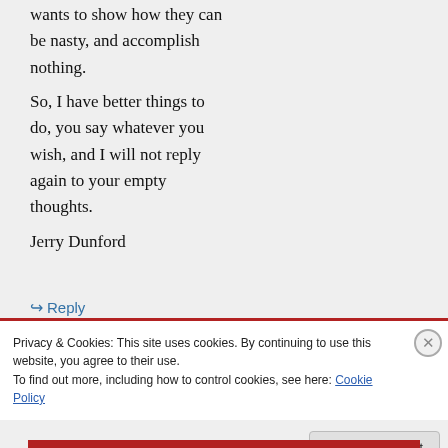wants to show how they can be nasty, and accomplish nothing.
So, I have better things to do, you say whatever you wish, and I will not reply again to your empty thoughts.
Jerry Dunford
↳ Reply
Privacy & Cookies: This site uses cookies. By continuing to use this website, you agree to their use.
To find out more, including how to control cookies, see here: Cookie Policy
Close and accept